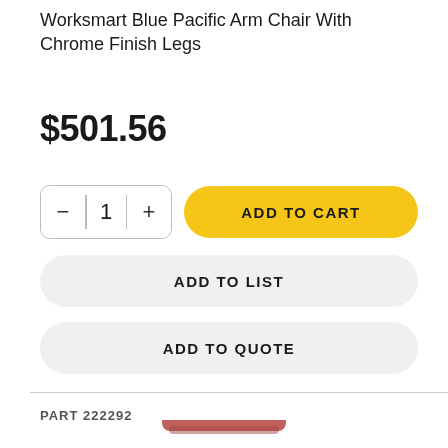Worksmart Blue Pacific Arm Chair With Chrome Finish Legs
$501.56
1
ADD TO CART
ADD TO LIST
ADD TO QUOTE
PART 222292
[Figure (photo): Product photo of a reddish-pink/coral colored arm chair, partially visible at the bottom of the page]